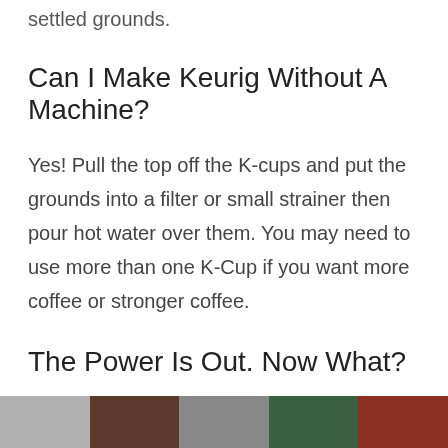settled grounds.
Can I Make Keurig Without A Machine?
Yes! Pull the top off the K-cups and put the grounds into a filter or small strainer then pour hot water over them. You may need to use more than one K-Cup if you want more coffee or stronger coffee.
The Power Is Out. Now What?
If you can find a way to boil water, then you are good to go. Gas stove, campfire, wood stove are all ways to generate heat so you can pour your hot water over the grounds and still enjoy a great cup of coffee.
[Figure (photo): Strip of food/beverage related photos at bottom of page]